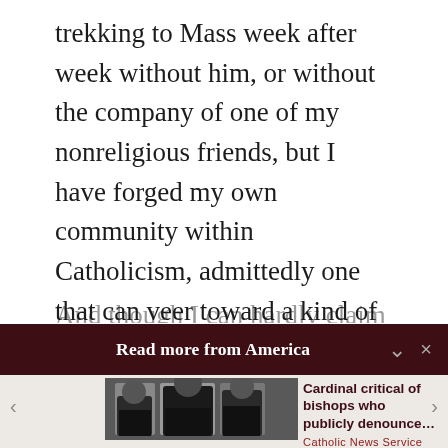trekking to Mass week after week without him, or without the company of one of my nonreligious friends, but I have forged my own community within Catholicism, admittedly one that can veer toward a kind of agnosticism. As Catholics who sometimes feel left on the margins of faith, we talk a lot about why we stick with the church, for all its obvious problems.
And though I can hardly claim …
Read more from America
[Figure (photo): Three Catholic clerics in black attire seated at a table, one in the foreground leaning forward with hands clasped.]
Cardinal critical of bishops who publicly denounce… Catholic News Service